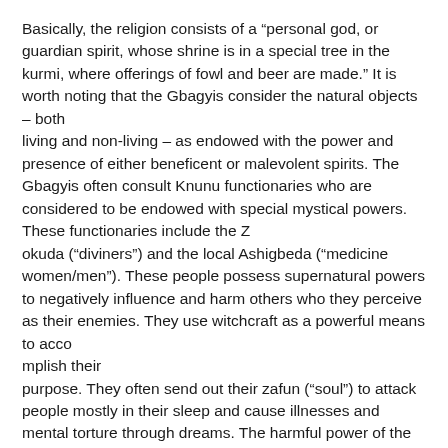Basically, the religion consists of a “personal god, or guardian spirit, whose shrine is in a special tree in the kurmi, where offerings of fowl and beer are made.” It is worth noting that the Gbagyis consider the natural objects – both living and non-living – as endowed with the power and presence of either beneficent or malevolent spirits. The Gbagyis often consult Knunu functionaries who are considered to be endowed with special mystical powers. These functionaries include the Z okuda (“diviners”) and the local Ashigbeda (“medicine women/men”). These people possess supernatural powers to negatively influence and harm others who they perceive as their enemies. They use witchcraft as a powerful means to acco mplish their purpose. They often send out their zafun (“soul”) to attack people mostly in their sleep and cause illnesses and mental torture through dreams. The harmful power of the Agunzheyin is not limited to external manipulations alone. They can cause people to think evil thoughts and to engage in harmful practices.